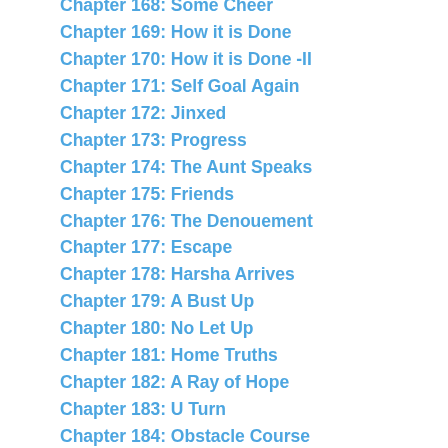Chapter 168: Some Cheer
Chapter 169: How it is Done
Chapter 170: How it is Done -II
Chapter 171: Self Goal Again
Chapter 172: Jinxed
Chapter 173: Progress
Chapter 174: The Aunt Speaks
Chapter 175: Friends
Chapter 176: The Denouement
Chapter 177: Escape
Chapter 178: Harsha Arrives
Chapter 179: A Bust Up
Chapter 180: No Let Up
Chapter 181: Home Truths
Chapter 182: A Ray of Hope
Chapter 183: U Turn
Chapter 184: Obstacle Course
Chapter 185: Crisis at Work
Chapter 186: On the Run
Chapter 187: In the Meanwhile